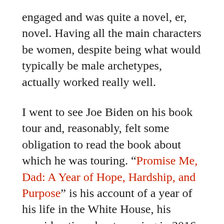engaged and was quite a novel, er, novel. Having all the main characters be women, despite being what would typically be male archetypes, actually worked really well.
I went to see Joe Biden on his book tour and, reasonably, felt some obligation to read the book about which he was touring. “Promise Me, Dad: A Year of Hope, Hardship, and Purpose” is his account of a year of his life in the White House, his consideration about running in 2016 and, ultimately, the last year of his son, Beau’s, life. Biden’s writing is breezy and sincere, and one gets the sense that he actually wrote most of the book